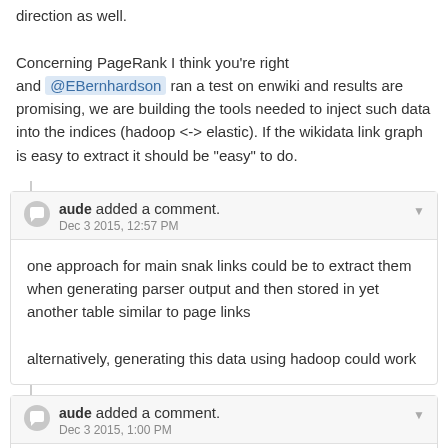direction as well.

Concerning PageRank I think you're right and @EBernhardson ran a test on enwiki and results are promising, we are building the tools needed to inject such data into the indices (hadoop <-> elastic). If the wikidata link graph is easy to extract it should be "easy" to do.
aude added a comment.
Dec 3 2015, 12:57 PM
one approach for main snak links could be to extract them when generating parser output and then stored in yet another table similar to page links

alternatively, generating this data using hadoop could work
aude added a comment.
Dec 3 2015, 1:00 PM
In T110648#1847639, @dcausse wrote: